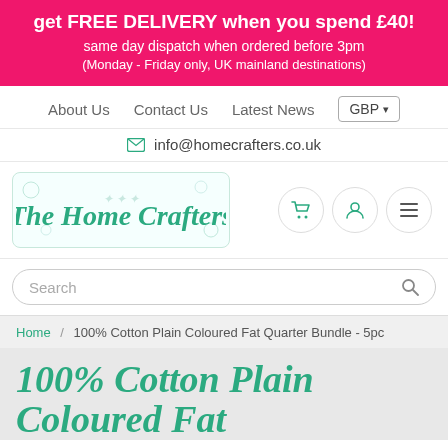get FREE DELIVERY when you spend £40! same day dispatch when ordered before 3pm (Monday - Friday only, UK mainland destinations)
About Us  Contact Us  Latest News  GBP
info@homecrafters.co.uk
[Figure (logo): The Home Crafters logo with teal script font on a decorative light background with craft-related icons]
Search
Home / 100% Cotton Plain Coloured Fat Quarter Bundle - 5pc
100% Cotton Plain Coloured Fat